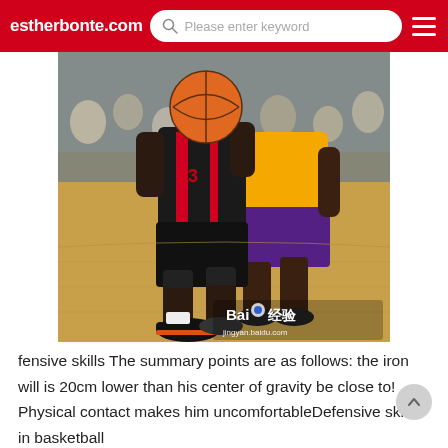estherbonte.com  Please enter keyword
[Figure (photo): Two NBA basketball players competing for the ball on a basketball court. A player in a black Miami Heat jersey is dribbling while a player in a yellow/purple Los Angeles Lakers jersey plays defense. The photo has a Baidu watermark (Baidu 经验, jingyan.baidu.com).]
fensive skills The summary points are as follows: the iron will is 20cm lower than his center of gravity be close to! Physical contact makes him uncomfortableDefensive skills in basketball